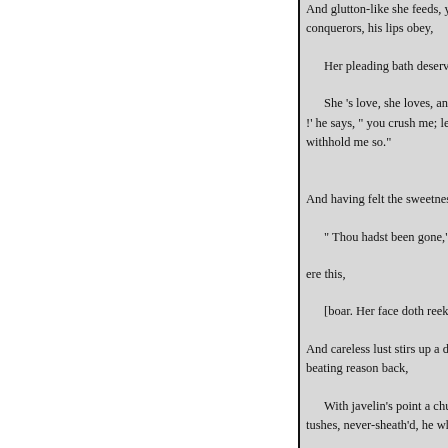And glutton-like she feeds, yet never filleth;
conquerors, his lips obey,

    Her pleading bath deserv'd a g

    She 's love, she loves, and yet
!' he says, " you crush me; let m
withhold me so."

And having felt the sweetness of

    " Thou hadst been gone,' quot

ere this,

    [boar. Her face doth reek and s

And careless lust stirs up a despe
beating reason back,

    With javelin's point a churlish
tushes, never-sheath'd, he whette

    Hot, faint, and weary, with
    Like a wild bird being ta